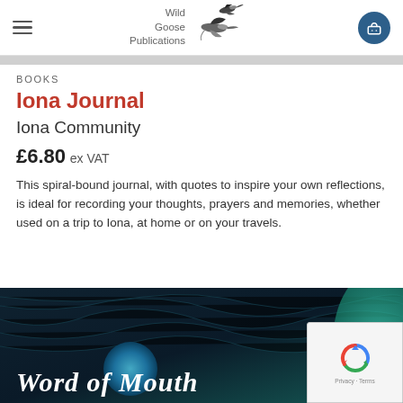[Figure (logo): Wild Goose Publications logo with stylized flying geese and text]
BOOKS
Iona Journal
Iona Community
£6.80 ex VAT
This spiral-bound journal, with quotes to inspire your own reflections, is ideal for recording your thoughts, prayers and memories, whether used on a trip to Iona, at home or on your travels.
[Figure (photo): Partial book cover showing 'Word of Mouth' text over blue/teal abstract background with circular shapes]